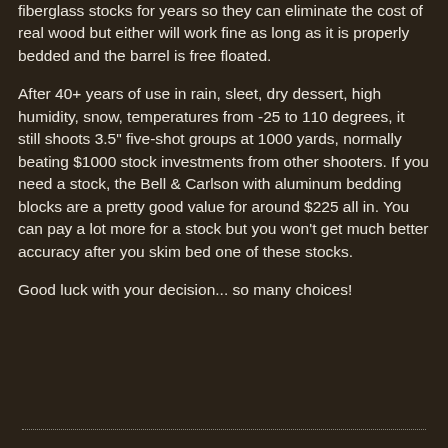fiberglass stocks for years so they can eliminate the cost of real wood but either will work fine as long as it is properly bedded and the barrel is free floated.
After 40+ years of use in rain, sleet, dry dessert, high humidity, snow, temperatures from -25 to 110 degrees, it still shoots 3.5" five-shot groups at 1000 yards, normally beating $1000 stock investments from other shooters. If you need a stock, the Bell & Carlson with aluminum bedding blocks are a pretty good value for around $225 all in. You can pay a lot more for a stock but you won't get much better accuracy after you skim bed one of these stocks.
Good luck with your decision... so many choices!